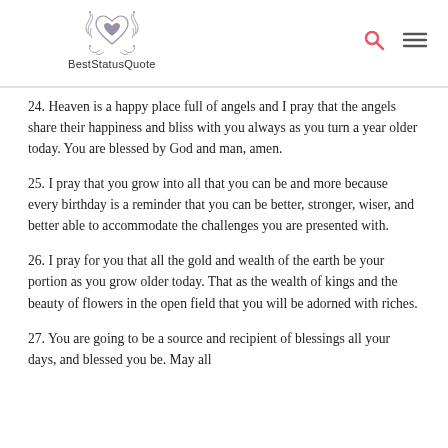BestStatusQuote
24. Heaven is a happy place full of angels and I pray that the angels share their happiness and bliss with you always as you turn a year older today. You are blessed by God and man, amen.
25. I pray that you grow into all that you can be and more because every birthday is a reminder that you can be better, stronger, wiser, and better able to accommodate the challenges you are presented with.
26. I pray for you that all the gold and wealth of the earth be your portion as you grow older today. That as the wealth of kings and the beauty of flowers in the open field that you will be adorned with riches.
27. You are going to be a source and recipient of blessings all your days, and blessed you be. May all...